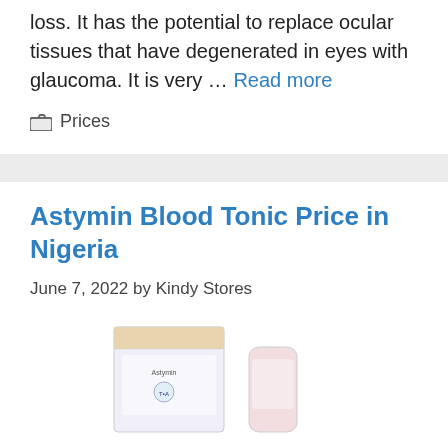loss. It has the potential to replace ocular tissues that have degenerated in eyes with glaucoma. It is very … Read more
Prices
Astymin Blood Tonic Price in Nigeria
June 7, 2022 by Kindy Stores
[Figure (photo): Product images of Astymin Blood Tonic bottles/packaging, partially visible at the bottom of the page]